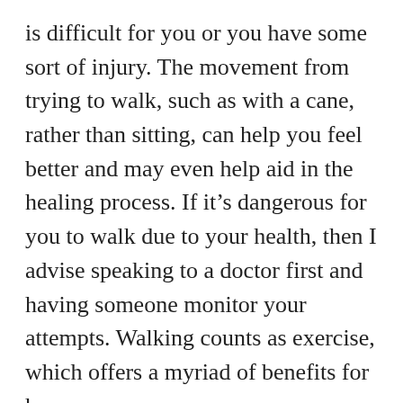is difficult for you or you have some sort of injury. The movement from trying to walk, such as with a cane, rather than sitting, can help you feel better and may even help aid in the healing process. If it's dangerous for you to walk due to your health, then I advise speaking to a doctor first and having someone monitor your attempts. Walking counts as exercise, which offers a myriad of benefits for humans.
Going on a walk is a great way to burn calories. It's not an extreme workout, but it does the job. If you don't have the time or effort for a gym session, try going for a walk in your